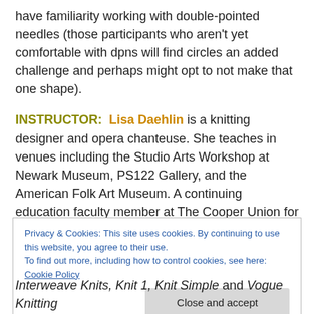have familiarity working with double-pointed needles (those participants who aren't yet comfortable with dpns will find circles an added challenge and perhaps might opt to not make that one shape).
INSTRUCTOR: Lisa Daehlin is a knitting designer and opera chanteuse. She teaches in venues including the Studio Arts Workshop at Newark Museum, PS122 Gallery, and the American Folk Art Museum. A continuing education faculty member at The Cooper Union for seven years, she has the distinction of having been the first
Privacy & Cookies: This site uses cookies. By continuing to use this website, you agree to their use. To find out more, including how to control cookies, see here: Cookie Policy
Close and accept
Interweave Knits, Knit 1, Knit Simple and Vogue Knitting